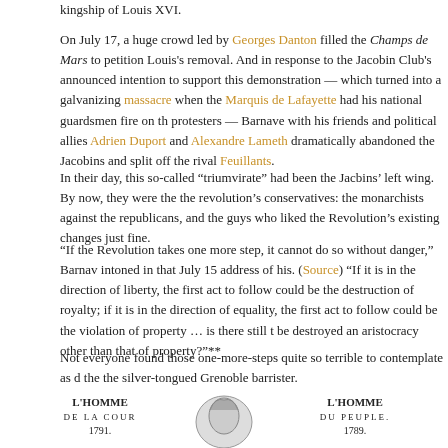kingship of Louis XVI.
On July 17, a huge crowd led by Georges Danton filled the Champs de Mars to petition Louis's removal. And in response to the Jacobin Club's announced intention to support this demonstration — which turned into a galvanizing massacre when the Marquis de Lafayette had his national guardsmen fire on the protesters — Barnave with his friends and political allies Adrien Duport and Alexandre Lameth dramatically abandoned the Jacobins and split off the rival Feuillants.
In their day, this so-called "triumvirate" had been the Jacbins' left wing. By now, they were the the revolution's conservatives: the monarchists against the republicans, and the guys who liked the Revolution's existing changes just fine.
"If the Revolution takes one more step, it cannot do so without danger," Barnave intoned in that July 15 address of his. (Source) "If it is in the direction of liberty, the first act to follow could be the destruction of royalty; if it is in the direction of equality, the first act to follow could be the violation of property … is there still to be destroyed an aristocracy other than that of property?"**
Not everyone found those one-more-steps quite so terrible to contemplate as did the the silver-tongued Grenoble barrister.
[Figure (illustration): Historical illustration showing a profile portrait of a man's face (facing right), flanked by two caricature-style profile drawings. Left side text reads 'L'HOMME DE LA COUR 1791.' and right side reads 'L'HOMME DU PEUPLE. 1789.']